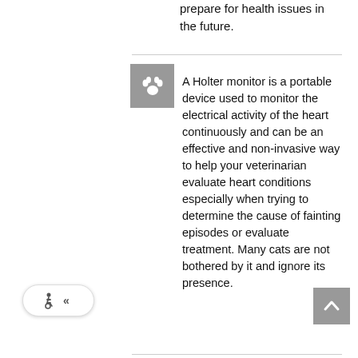prepare for health issues in the future.
[Figure (illustration): Gray square icon with a white paw print symbol]
A Holter monitor is a portable device used to monitor the electrical activity of the heart continuously and can be an effective and non-invasive way to help your veterinarian evaluate heart conditions especially when trying to determine the cause of fainting episodes or evaluate treatment. Many cats are not bothered by it and ignore its presence.
[Figure (other): Accessibility toggle button with wheelchair icon and double chevron]
[Figure (other): Scroll to top button (gray square with upward chevron)]